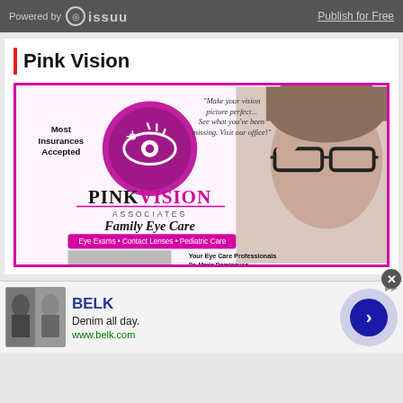Powered by issuu | Publish for Free
Pink Vision
[Figure (illustration): Pink Vision Associates Family Eye Care advertisement. Features a woman wearing glasses, a pink eye logo, text: Most Insurances Accepted, Make your vision picture perfect... See what you've been missing. Visit our office!, PINKVISION ASSOCIATES, Family Eye Care, Eye Exams • Contact Lenses • Pediatric Care, Your Eye Care Professionals, Dr. Maria Domingues Lic # 270490630700, Dr. Jayswinder Kaur Lic# 270400609700]
[Figure (advertisement): BELK advertisement. Denim all day. www.belk.com. Shows clothing images and a navigation arrow button.]